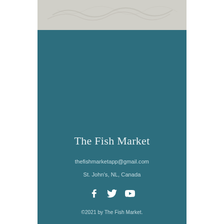[Figure (photo): Top faded image area with light gray background and faint cursive watermark text, partially visible]
The Fish Market
thefishmarketapp@gmail.com
St. John's, NL, Canada
[Figure (infographic): Social media icons: Facebook, Twitter, YouTube — white icons on teal background]
©2021 by The Fish Market.